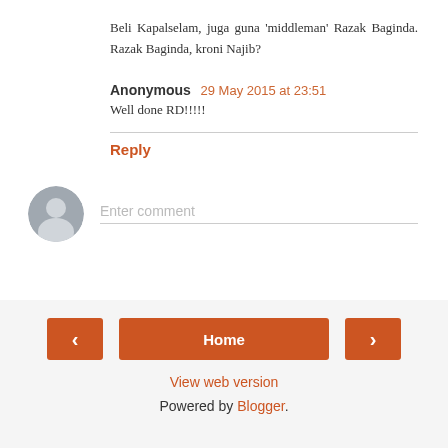Beli Kapalselam, juga guna 'middleman' Razak Baginda. Razak Baginda, kroni Najib?
Anonymous 29 May 2015 at 23:51
Well done RD!!!!!
Reply
Enter comment
Home
View web version
Powered by Blogger.